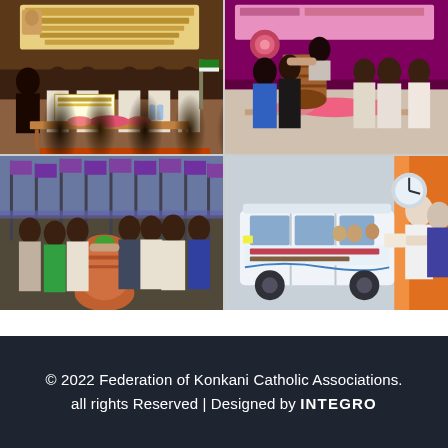[Figure (photo): Grid of four event photographs: top-left shows an award ceremony with people holding a banner in Kannada script; top-right shows a ceremonial event with a large drum/cylinder and dignitaries; bottom-left shows an outdoor rally with purple flags and a traditional clay pot; bottom-right shows a mobile van with Kannada text and a person presenting something.]
© 2022 Federation of Konkani Catholic Associations. all rights Reserved | Designed by INTEGRO